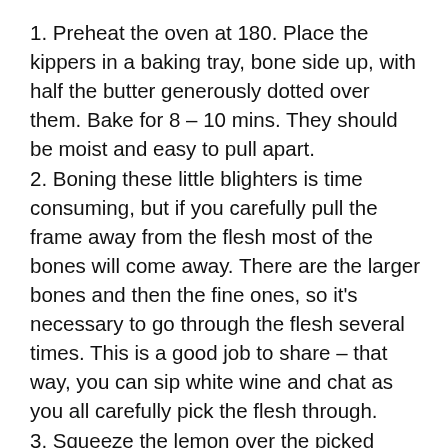1. Preheat the oven at 180. Place the kippers in a baking tray, bone side up, with half the butter generously dotted over them. Bake for 8 – 10 mins. They should be moist and easy to pull apart.
2. Boning these little blighters is time consuming, but if you carefully pull the frame away from the flesh most of the bones will come away. There are the larger bones and then the fine ones, so it's necessary to go through the flesh several times. This is a good job to share – that way, you can sip white wine and chat as you all carefully pick the flesh through.
3. Squeeze the lemon over the picked meat, add the Tabasco, paprika and lemon and the rest of the softened butter. With a fork mush the butter and kipper together. Finally stir in the crème fraiche. Season and continue to fork the mixture together, until you have a combined consistency.